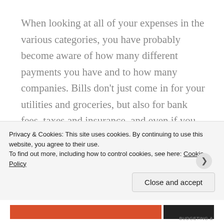When looking at all of your expenses in the various categories, you have probably become aware of how many different payments you have and to how many companies. Bills don't just come in for your utilities and groceries, but also for bank fees, taxes and insurance, and even if you only pay them once a year, there are a lot of bills that need attention.
Many people spend a good amount of time "paying bills" each month and whereas there is
Privacy & Cookies: This site uses cookies. By continuing to use this website, you agree to their use.
To find out more, including how to control cookies, see here: Cookie Policy